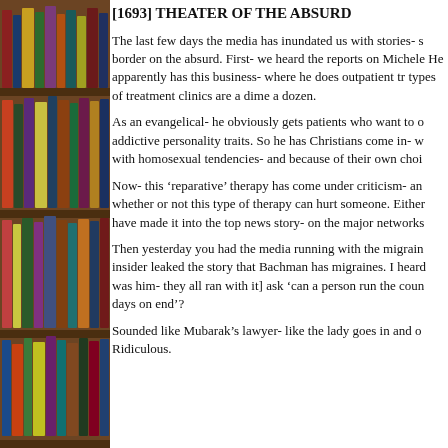[Figure (photo): Bookshelf with colorful books on wooden shelves, left side of page]
[1693] THEATER OF THE ABSURD
The last few days the media has inundated us with stories- s border on the absurd. First- we heard the reports on Michele He apparently has this business- where he does outpatient tr types of treatment clinics are a dime a dozen.
As an evangelical- he obviously gets patients who want to o addictive personality traits. So he has Christians come in- w with homosexual tendencies- and because of their own choi
Now- this ‘reparative’ therapy has come under criticism- an whether or not this type of therapy can hurt someone. Either have made it into the top news story- on the major networks
Then yesterday you had the media running with the migrain insider leaked the story that Bachman has migraines. I heard was him- they all ran with it] ask ‘can a person run the coun days on end’?
Sounded like Mubarak’s lawyer- like the lady goes in and o Ridiculous.